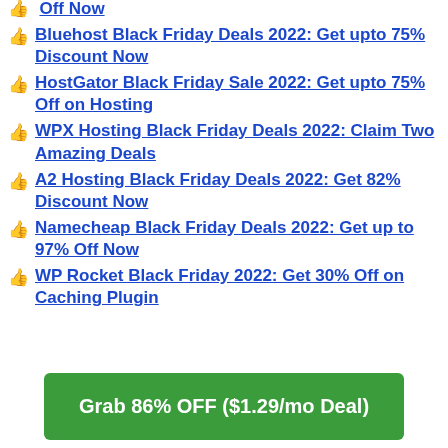Off Now
Bluehost Black Friday Deals 2022: Get upto 75% Discount Now
HostGator Black Friday Sale 2022: Get upto 75% Off on Hosting
WPX Hosting Black Friday Deals 2022: Claim Two Amazing Deals
A2 Hosting Black Friday Deals 2022: Get 82% Discount Now
Namecheap Black Friday Deals 2022: Get up to 97% Off Now
WP Rocket Black Friday 2022: Get 30% Off on Caching Plugin
Grab 86% OFF ($1.29/mo Deal)